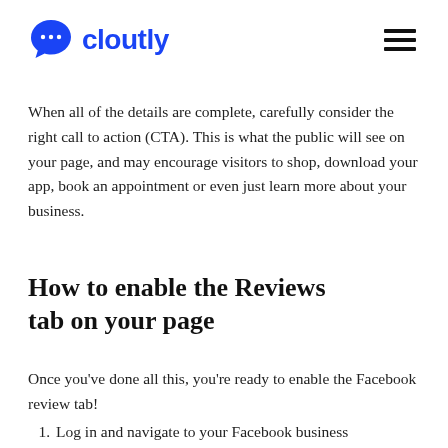cloutly
When all of the details are complete, carefully consider the right call to action (CTA). This is what the public will see on your page, and may encourage visitors to shop, download your app, book an appointment or even just learn more about your business.
How to enable the Reviews tab on your page
Once you've done all this, you're ready to enable the Facebook review tab!
1. Log in and navigate to your Facebook business